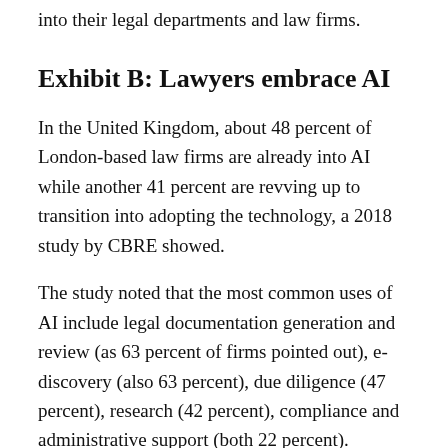into their legal departments and law firms.
Exhibit B: Lawyers embrace AI
In the United Kingdom, about 48 percent of London-based law firms are already into AI while another 41 percent are revving up to transition into adopting the technology, a 2018 study by CBRE showed.
The study noted that the most common uses of AI include legal documentation generation and review (as 63 percent of firms pointed out), e-discovery (also 63 percent), due diligence (47 percent), research (42 percent), compliance and administrative support (both 22 percent).